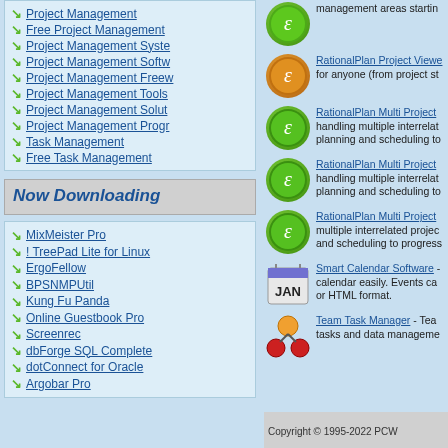Project Management
Free Project Management
Project Management Syste
Project Management Softw
Project Management Freew
Project Management Tools
Project Management Solut
Project Management Progr
Task Management
Free Task Management
Now Downloading
MixMeister Pro
! TreePad Lite for Linux
ErgoFellow
BPSNMPUtil
Kung Fu Panda
Online Guestbook Pro
Screenrec
dbForge SQL Complete
dotConnect for Oracle
Argobar Pro
management areas starting
RationalPlan Project Viewer - for anyone (from project st
RationalPlan Multi Project - handling multiple interrelated planning and scheduling to
RationalPlan Multi Project - handling multiple interrelated planning and scheduling to
RationalPlan Multi Project - multiple interrelated projects and scheduling to progress
Smart Calendar Software - calendar easily. Events can or HTML format.
Team Task Manager - Team tasks and data management
Copyright © 1995-2022 PCW